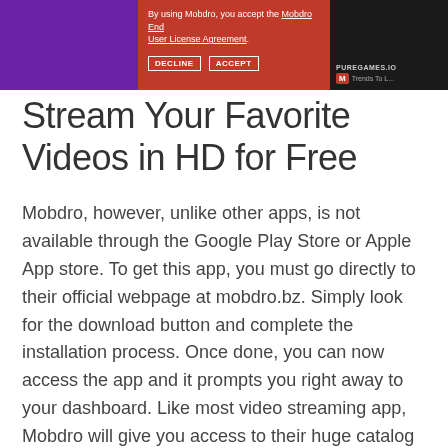[Figure (screenshot): Screenshot of Mobdro app showing EULA dialog with purple, red, and dark sections, with text 'By using Mobdro, you accept the Mobdro End User License Agreement.' and DECLINE/ACCEPT buttons, alongside a dark panel showing Trends content and PUREGAMES.IO branding.]
Stream Your Favorite Videos in HD for Free
Mobdro, however, unlike other apps, is not available through the Google Play Store or Apple App store. To get this app, you must go directly to their official webpage at mobdro.bz. Simply look for the download button and complete the installation process. Once done, you can now access the app and it prompts you right away to your dashboard. Like most video streaming app, Mobdro will give you access to their huge catalog of videos that are definitely worth watching.
Interestingly, the app comes with a very simple and user-